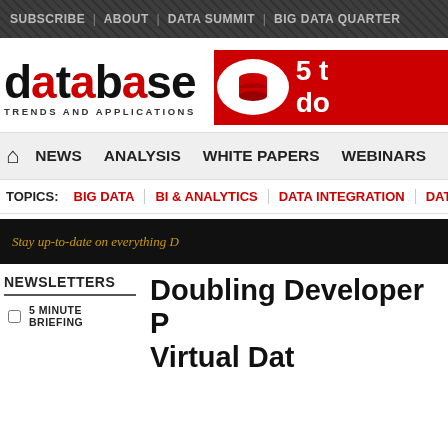SUBSCRIBE | ABOUT | DATA SUMMIT | BIG DATA QUARTER
[Figure (logo): Database Trends and Applications logo with red cylindrical database icon and red ad banner showing '5 t do']
NEWS  ANALYSIS  WHITE PAPERS  WEBINARS
TOPICS: BIG DATA | BI & ANALYTICS | DATA INTEGRATION | DAT
Stay up-to-date on everything D
NEWSLETTERS
5 MINUTE BRIEFING
Doubling Developer P Virtual Dat